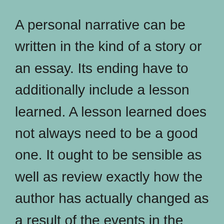A personal narrative can be written in the kind of a story or an essay. Its ending have to additionally include a lesson learned. A lesson learned does not always need to be a good one. It ought to be sensible as well as review exactly how the author has actually changed as a result of the events in the narrative. It is important to avoid the temptation to overstate or decorate, nevertheless. In general, it's best to leave the composing procedure available to alteration.
A personal narrative can be anywhere from one to 5 pages in length. The length depends